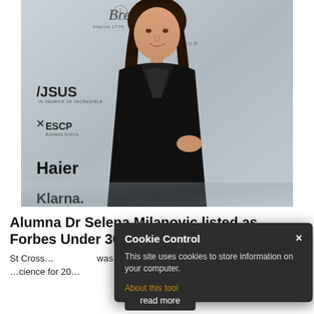[Figure (photo): Woman with long dark hair wearing a black blazer and outfit, standing in front of a sponsor backdrop featuring logos of Breguet, ASUS, ESCP Business School, Haier, Klarna, Siemens Healthineers, Missoni, Ventive, ClubDeal Online, Urban Sports Club, and other brands.]
Alumna Dr Selena Milanovic listed as Forbes Under 30
St Cross... Milanovic... was selected by Forbes Italy among the Under 30 ...cience for 20...
Cookie Control
This site uses cookies to store information on your computer.
About this tool
read more